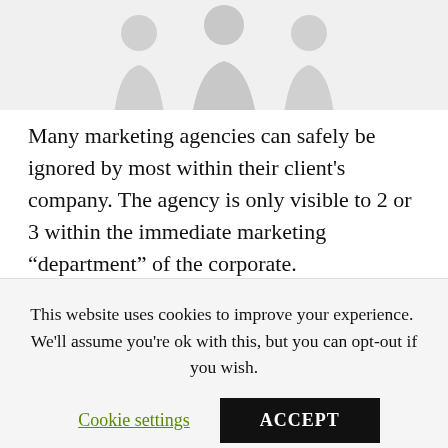[Figure (illustration): Partial view of silhouette figures of people (torsos/heads) against a light background, cropped at the top of the page.]
Many marketing agencies can safely be ignored by most within their client’s company. The agency is only visible to 2 or 3 within the immediate marketing “department” of the corporate.
Why not create dashboards that actively generate interest in what the agency is doing? Why not stimulate positive questions at board level. That provoke discussion of options.
This website uses cookies to improve your experience. We'll assume you're ok with this, but you can opt-out if you wish.
Cookie settings  ACCEPT